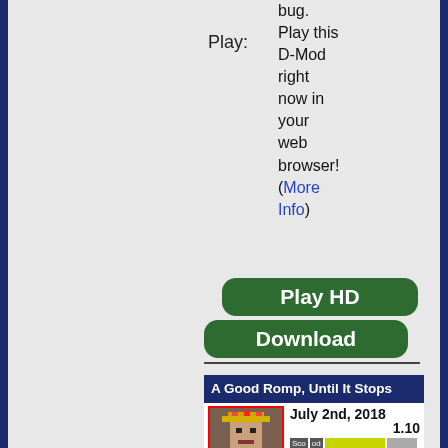Play:
Play this D-Mod right now in your web browser! (More Info)
[Figure (other): Green Play HD button]
[Figure (other): Green Download button]
A Good Romp, Until It Stops
July 2nd, 2018  1.10
[Figure (photo): Avatar image of a king character in red robe with crown, pixel art style, bordered in red]
redink1
The Northern Lands takes you on a little
A mother ducking